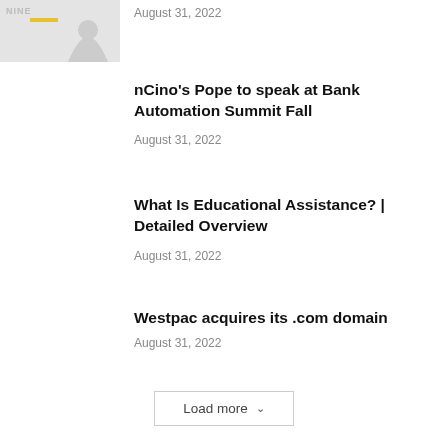[Figure (photo): Thumbnail image placeholder with 'NINE' text and a yellow bar, partial silhouette figure visible]
August 31, 2022
nCino's Pope to speak at Bank Automation Summit Fall
August 31, 2022
What Is Educational Assistance? | Detailed Overview
August 31, 2022
Westpac acquires its .com domain
August 31, 2022
Load more